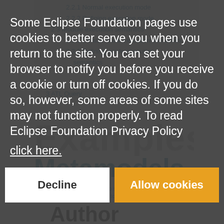2.2.1 Normal execution mode
2.2.2 Refining execution mode
2.3 Module execution semantics
2.3.1 Default mode execution semantics
2.3.2 Refining mode execution semantics
3 ATL Query
Examples
Metamodels
This section provides two simple metamodels which will be used all along this guide to demonstrate ATL syntax and use.
Author metamodel
Some Eclipse Foundation pages use cookies to better serve you when you return to the site. You can set your browser to notify you before you receive a cookie or turn off cookies. If you do so, however, some areas of some sites may not function properly. To read Eclipse Foundation Privacy Policy click here.